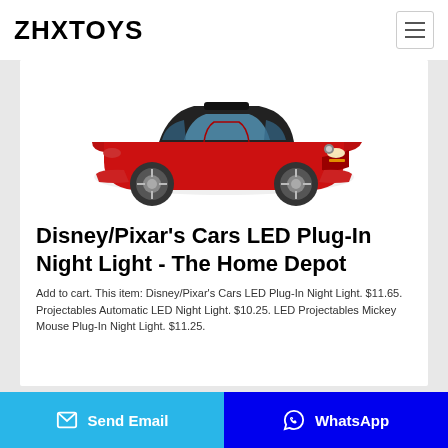ZHXTOYS
[Figure (photo): Red ride-on toy car (children's electric car) shown from a front-angled view on a white background]
Disney/Pixar's Cars LED Plug-In Night Light - The Home Depot
Add to cart. This item: Disney/Pixar's Cars LED Plug-In Night Light. $11.65. Projectables Automatic LED Night Light. $10.25. LED Projectables Mickey Mouse Plug-In Night Light. $11.25.
Send Email   WhatsApp